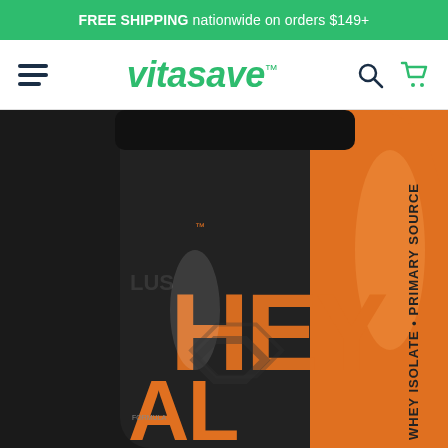FREE SHIPPING nationwide on orders $149+
[Figure (logo): Vitasave website header with hamburger menu, vitasave logo in green italic, search icon, and cart icon]
[Figure (photo): Close-up product photo of a black and orange supplement container labeled 'WHEY ISOLATE PRIMARY SOURCE', partial brand name visible as '...LUS' on the left side]